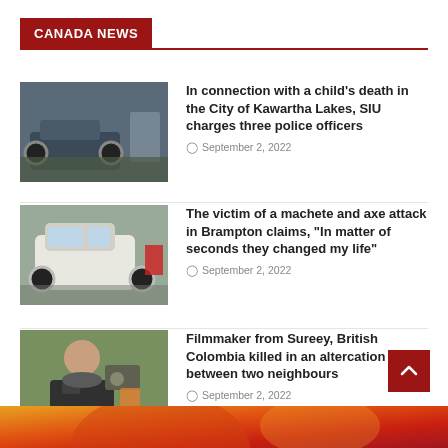CANADA NEWS
In connection with a child’s death in the City of Kawartha Lakes, SIU charges three police officers
September 2, 2022
The victim of a machete and axe attack in Brampton claims, “In matter of seconds they changed my life”
September 2, 2022
Filmmaker from Sureey, British Colombia killed in an altercation between two neighbours
September 2, 2022
[Figure (photo): Crashed vehicle at scene, police investigation]
[Figure (photo): White SUV vehicle]
[Figure (photo): Man with camera equipment outdoors]